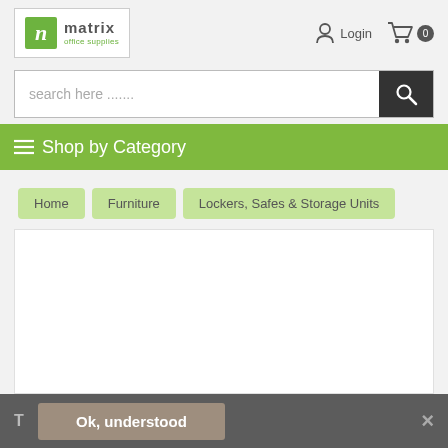[Figure (logo): Matrix Office Supplies logo with green 'm' icon and text]
Login
0
search here .......
≡ Shop by Category
Home
Furniture
Lockers, Safes & Storage Units
T  Ok, understood  ✕